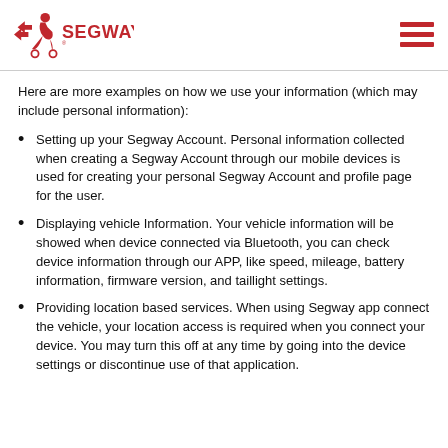SEGWAY
Here are more examples on how we use your information (which may include personal information):
Setting up your Segway Account. Personal information collected when creating a Segway Account through our mobile devices is used for creating your personal Segway Account and profile page for the user.
Displaying vehicle Information. Your vehicle information will be showed when device connected via Bluetooth, you can check device information through our APP, like speed, mileage, battery information, firmware version, and taillight settings.
Providing location based services. When using Segway app connect the vehicle, your location access is required when you connect your device. You may turn this off at any time by going into the device settings or discontinue use of that application.